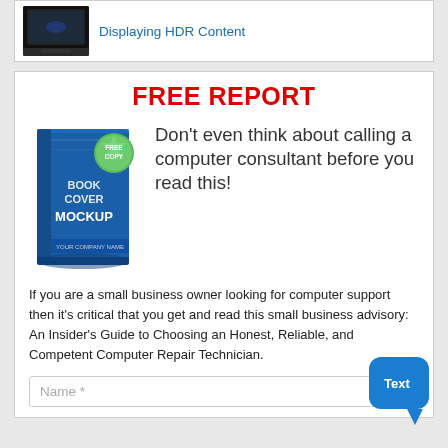Displaying HDR Content
FREE REPORT
[Figure (illustration): Book cover mockup — blue book with green 'FREE COPY' sticker badge, text reads BOOK COVER MOCKUP YOUR COMPANY NAME]
Don't even think about calling a computer consultant before you read this!
If you are a small business owner looking for computer support then it's critical that you get and read this small business advisory: An Insider's Guide to Choosing an Honest, Reliable, and Competent Computer Repair Technician.